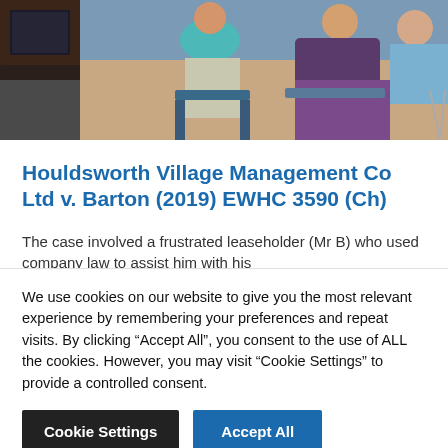[Figure (photo): People seated in a waiting area or meeting room, visible from waist down; courtroom or office setting with a dark desk visible on the left.]
Houldsworth Village Management Co Ltd v. Barton (2019) EWHC 3590 (Ch)
The case involved a frustrated leaseholder (Mr B) who used company law to assist him with his
We use cookies on our website to give you the most relevant experience by remembering your preferences and repeat visits. By clicking “Accept All”, you consent to the use of ALL the cookies. However, you may visit “Cookie Settings” to provide a controlled consent.
Cookie Settings
Accept All